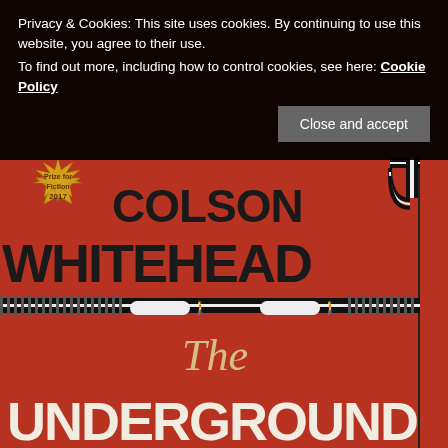Privacy & Cookies: This site uses cookies. By continuing to use this website, you agree to their use.
To find out more, including how to control cookies, see here: Cookie Policy
Close and accept
[Figure (photo): Book cover of 'The Underground Railroad' by Colson Whitehead. Red/orange background with bold black text showing author name 'COLSON WHITEHEAD' and title beginning 'The UNDERGROUND'. Gold starburst badge reads 'Pulitzer Prize for Fiction 2017'. Decorative railroad track graphic elements. Side spine text reads 'THE NATIONAL BOOK AWARD'.]